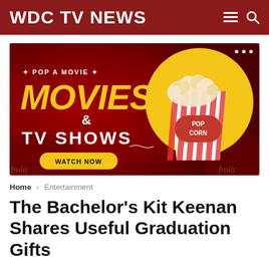WDC TV NEWS
[Figure (illustration): Advertisement banner with dark red background. Left side text reads 'POP A MOVIE MOVIES & TV SHOWS' with a 'WATCH NOW' yellow pill button. Right side shows a yellow circle with a popcorn box labeled 'POP CORN'. Three dots appear top right of banner.]
Home > Entertainment
The Bachelor's Kit Keenan Shares Useful Graduation Gifts